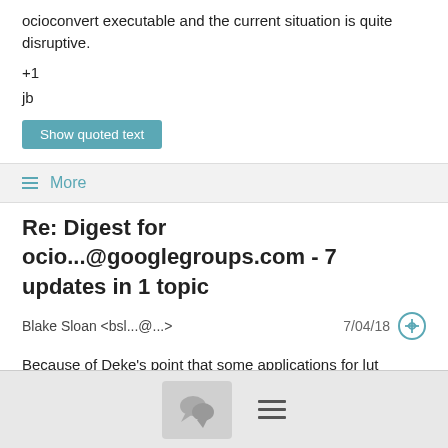ocioconvert executable and the current situation is quite disruptive.
+1
jb
Show quoted text
≡ More
Re: Digest for ocio...@googlegroups.com - 7 updates in 1 topic
Blake Sloan <bsl...@...>
7/04/18
Because of Deke's point that some applications for lut images require other 8-bit formats, I like 1 and 3.